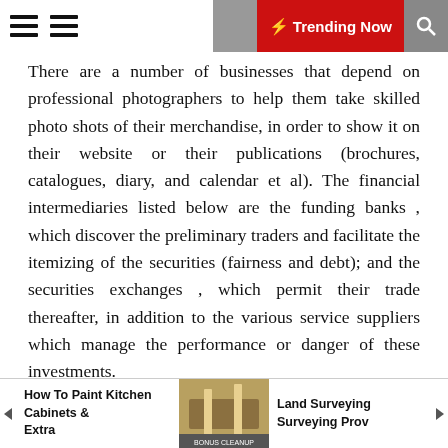Trending Now
There are a number of businesses that depend on professional photographers to help them take skilled photo shots of their merchandise, in order to show it on their website or their publications (brochures, catalogues, diary, and calendar et al). The financial intermediaries listed below are the funding banks , which discover the preliminary traders and facilitate the itemizing of the securities (fairness and debt); and the securities exchanges , which permit their trade thereafter, in addition to the various service suppliers which manage the performance or danger of these investments.
Immediately's DIY systems are customizable and include companion apps that guide you through installation, monitoring, and emergencies. In addition to six equipment plans and easy setup instructions, you can choose to monitor the system yourself or opt for skilled
How To Paint Kitchen Cabinets & Extra | Land Surveying Surveying Prov